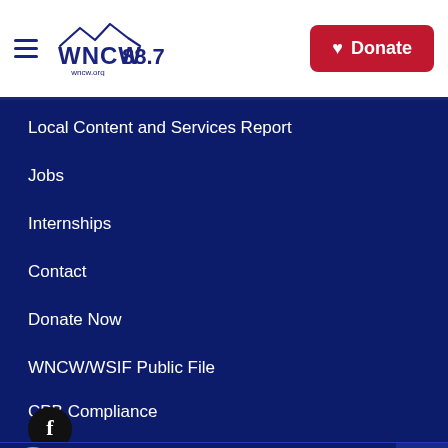[Figure (logo): WNCW 88.7 radio station logo with mountain silhouette graphic, wncw.org below]
Donate
Local Content and Services Report
Jobs
Internships
Contact
Donate Now
WNCW/WSIF Public File
CPB Compliance
[Figure (logo): Facebook social media icon - white 'f' on black circle]
WNCW
WNCW's Music Mix with Jo...